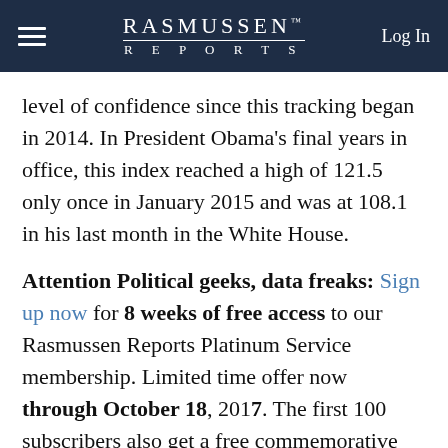RASMUSSEN REPORTS | Log In
level of confidence since this tracking began in 2014. In President Obama's final years in office, this index reached a high of 121.5 only once in January 2015 and was at 108.1 in his last month in the White House.
Attention Political geeks, data freaks: Sign up now for 8 weeks of free access to our Rasmussen Reports Platinum Service membership. Limited time offer now through October 18, 2017. The first 100 subscribers also get a free commemorative gift from Rasmussen Reports.